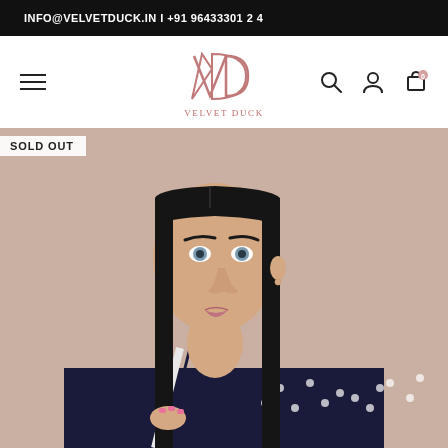INFO@VELVETDUCK.IN | +91 9643330124
[Figure (logo): Velvet Duck logo with stylized V D monogram in rose/pink color and text VELVET DUCK below]
SOLD OUT
[Figure (photo): Female model with dark straight hair, wearing a navy blue and white printed/embroidered garment, photographed against a beige background]